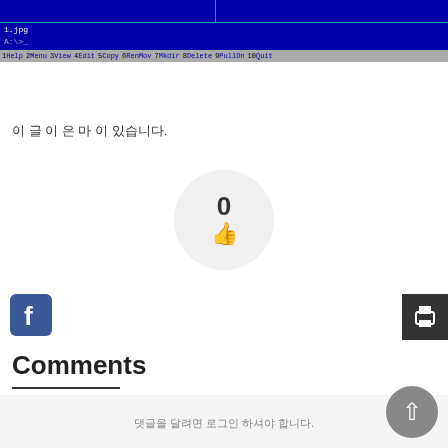[Figure (screenshot): DOS/Norton Commander style file manager screenshot showing two panels, a filename '1.jpg', prompt 'A:\>_', and a menu bar with options: 1Help 2Menu 3View 4Edit 5Copy 6RenMov 7Mkdir 8Delete 9PullDn 10Quit]
이 글 이 은 마 이 있습니다.
[Figure (infographic): A circular like/vote counter showing 0 with a thumbs up icon inside a light gray circle]
[Figure (logo): Facebook logo icon (blue square with white 'f')]
[Figure (infographic): Print button - dark gray square with printer icon]
Comments
댓글을 달려면 로그인 하셔야 합니다.